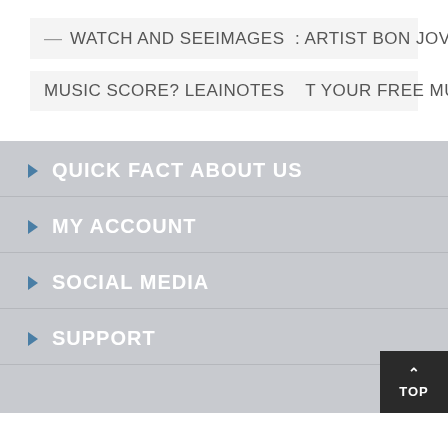— WATCH AND SEEIMAGES : ARTIST BON JOVI—
MUSIC SCORE? LEAINOTES  T YOUR FREE MUSIC'
QUICK FACT ABOUT US
MY ACCOUNT
SOCIAL MEDIA
SUPPORT